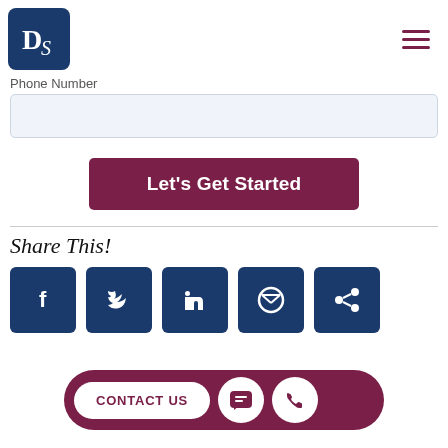[Figure (logo): DS logo in blue square with hamburger menu icon]
Phone Number
[Figure (screenshot): Phone number input field (empty, light blue background)]
Let's Get Started
Share This!
[Figure (screenshot): Row of social media icons: Facebook, Twitter, and three more (partially visible), with a CONTACT US bar overlay]
[Figure (infographic): CONTACT US pill-shaped bar with chat and phone icons]